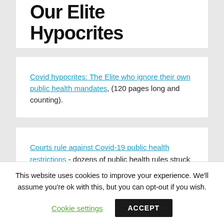Our Elite Hypocrites
Covid hypocrites: The Elite who ignore their own public health mandates, (120 pages long and counting).
Courts rule against Covid-19 public health restrictions - dozens of public health rules struck down as illegal or unconstitutional.
This website uses cookies to improve your experience. We'll assume you're ok with this, but you can opt-out if you wish.